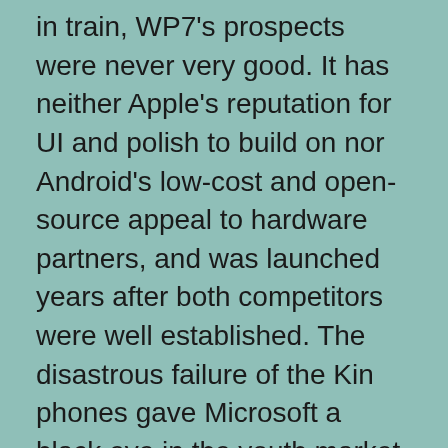in train, WP7's prospects were never very good. It has neither Apple's reputation for UI and polish to build on nor Android's low-cost and open-source appeal to hardware partners, and was launched years after both competitors were well established. The disastrous failure of the Kin phones gave Microsoft a black eye in the youth market, and Blackberry had already captured high-end corporate customers with deluxe Microsoft Outlook support before Microsoft itself got there to contest the territory. There was early speculation that Nokia (now helmed by a Microsoft alumnus) might jump to WP7 rather than Android or its faltering MeeGo